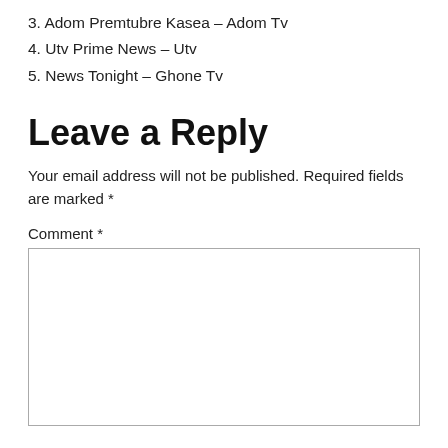3. Adom Premtubre Kasea – Adom Tv
4. Utv Prime News – Utv
5. News Tonight – Ghone Tv
Leave a Reply
Your email address will not be published. Required fields are marked *
Comment *